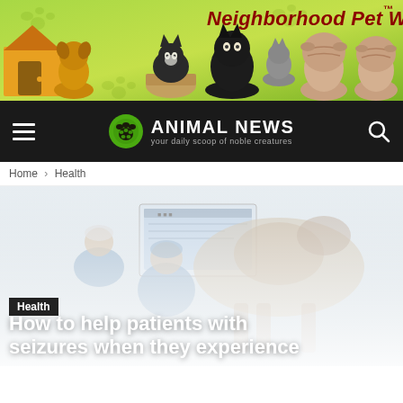[Figure (illustration): Neighborhood Pet Watch banner advertisement with green background showing several pets including a golden retriever, black and white cat, two Shar-Pei puppies, and other animals. Text reads 'Neighborhood Pet Watch™' in dark red italic font.]
ANIMAL NEWS — your daily scoop of noble creatures
Home › Health
[Figure (photo): Faded/washed out photo of veterinary professionals in scrubs examining or treating a large animal, likely a horse, in a clinical setting with a monitor visible in the background.]
Health
How to help patients with seizures when they experience